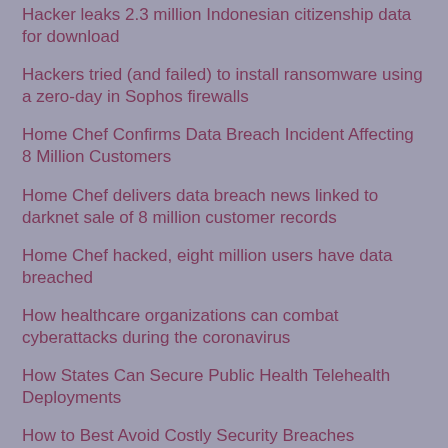Hacker leaks 2.3 million Indonesian citizenship data for download
Hackers tried (and failed) to install ransomware using a zero-day in Sophos firewalls
Home Chef Confirms Data Breach Incident Affecting 8 Million Customers
Home Chef delivers data breach news linked to darknet sale of 8 million customer records
Home Chef hacked, eight million users have data breached
How healthcare organizations can combat cyberattacks during the coronavirus
How States Can Secure Public Health Telehealth Deployments
How to Best Avoid Costly Security Breaches